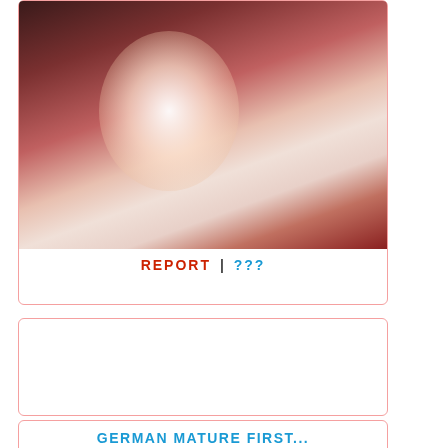[Figure (photo): Blurred close-up photo with warm reddish and skin tones, bright central highlight]
REPORT | ???
[Figure (photo): Large white/blank content area inside a card with pink border]
GERMAN MATURE FIRST...